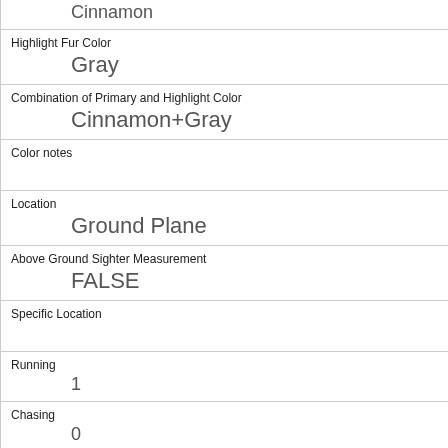| Cinnamon |
| Highlight Fur Color | Gray |
| Combination of Primary and Highlight Color | Cinnamon+Gray |
| Color notes |  |
| Location | Ground Plane |
| Above Ground Sighter Measurement | FALSE |
| Specific Location |  |
| Running | 1 |
| Chasing | 0 |
| Climbing | 0 |
| Eating | 0 |